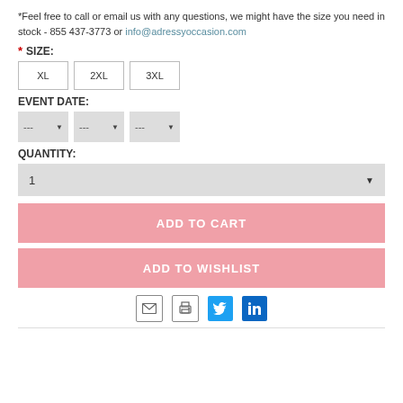*Feel free to call or email us with any questions, we might have the size you need in stock - 855 437-3773 or info@adressyoccasion.com
* SIZE:
XL
2XL
3XL
EVENT DATE:
QUANTITY:
ADD TO CART
ADD TO WISHLIST